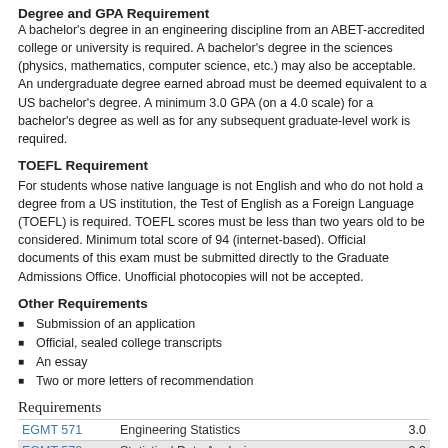Degree and GPA Requirement
A bachelor’s degree in an engineering discipline from an ABET-accredited college or university is required. A bachelor’s degree in the sciences (physics, mathematics, computer science, etc.) may also be acceptable. An undergraduate degree earned abroad must be deemed equivalent to a US bachelor’s degree. A minimum 3.0 GPA (on a 4.0 scale) for a bachelor’s degree as well as for any subsequent graduate-level work is required.
TOEFL Requirement
For students whose native language is not English and who do not hold a degree from a US institution, the Test of English as a Foreign Language (TOEFL) is required. TOEFL scores must be less than two years old to be considered. Minimum total score of 94 (internet-based). Official documents of this exam must be submitted directly to the Graduate Admissions Office. Unofficial photocopies will not be accepted.
Other Requirements
Submission of an application
Official, sealed college transcripts
An essay
Two or more letters of recommendation
Requirements
| Course | Description | Credits |
| --- | --- | --- |
| EGMT 571 | Engineering Statistics | 3.0 |
| EGMT 572 | Statistical Data Analysis | 3.0 |
| EGMT 573 | Operations Research | 3.0 |